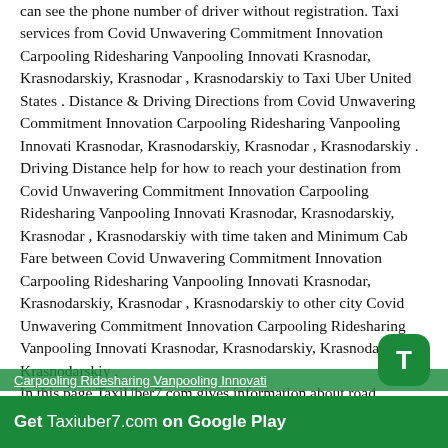can see the phone number of driver without registration. Taxi services from Covid Unwavering Commitment Innovation Carpooling Ridesharing Vanpooling Innovati Krasnodar, Krasnodarskiy, Krasnodar , Krasnodarskiy to Taxi Uber United States . Distance & Driving Directions from Covid Unwavering Commitment Innovation Carpooling Ridesharing Vanpooling Innovati Krasnodar, Krasnodarskiy, Krasnodar , Krasnodarskiy . Driving Distance help for how to reach your destination from Covid Unwavering Commitment Innovation Carpooling Ridesharing Vanpooling Innovati Krasnodar, Krasnodarskiy, Krasnodar , Krasnodarskiy with time taken and Minimum Cab Fare between Covid Unwavering Commitment Innovation Carpooling Ridesharing Vanpooling Innovati Krasnodar, Krasnodarskiy, Krasnodar , Krasnodarskiy to other city Covid Unwavering Commitment Innovation Carpooling Ridesharing Vanpooling Innovati Krasnodar, Krasnodarskiy, Krasnodar , Krasnodarskiy . In this page TaxiUber7.com gives information about road distance from Covid Unwavering Commitment Innovation Carpooling Ridesharing Vanpooling Innovati Krasnodar, Krasnodarskiy, Krasnodar , Krasnodarskiy to different cities Covid Unwavering Commitment Innovation Carpooling Ridesharing Vanpooling Innovati Krasnodar, Krasnodarskiy, Krasnodar , Krasnodarskiy with cheapest taxi rate from Covid Unwavering Commitment Innovation Carpooling Ridesharing Vanpooling Innovati Krasnodar, Krasnodarskiy, Krasnodar , Krasnodarskiy other cities and map location. TaxiUber7.com provides km by km information from
[Figure (other): Green 'T' badge overlay and green banner at bottom reading 'Get Taxiuber7.com on Google Play' with overlay green strip showing underlined text 'Carpooling Ridesharing Vanpooling Innovati']